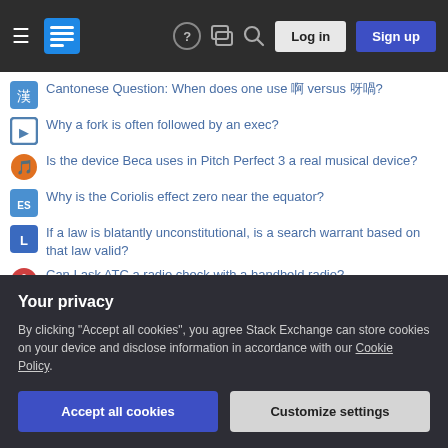Stack Exchange navigation bar with logo, help, chat, search, Log in, Sign up
Cantonese Question: When does one use 啊 versus 呀喎?
Why a fork is often followed by an exec?
Is the device Beca uses in Pitch Perfect 3 a real musical device?
Why is the Coriolis effect zero near the equator?
If a law is blatantly unconstitutional, is a search warrant based on that law valid?
Can I ask ATC a radio check with a handheld radio?
When creating a bash array using mapfile and parallel, why isn't the array created when used inside a function?
What are some rationales to teach Computer Science students security?
Your privacy
By clicking "Accept all cookies", you agree Stack Exchange can store cookies on your device and disclose information in accordance with our Cookie Policy.
Accept all cookies  Customize settings